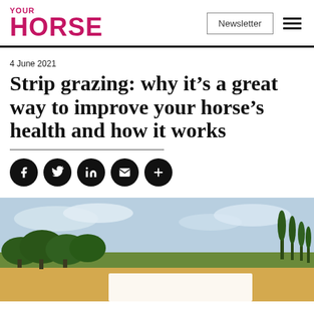YOUR HORSE | Newsletter
4 June 2021
Strip grazing: why it’s a great way to improve your horse’s health and how it works
[Figure (photo): Rural countryside landscape with green and golden fields, trees, and a partly cloudy blue sky. A white rectangular overlay covers the lower-center portion of the image.]